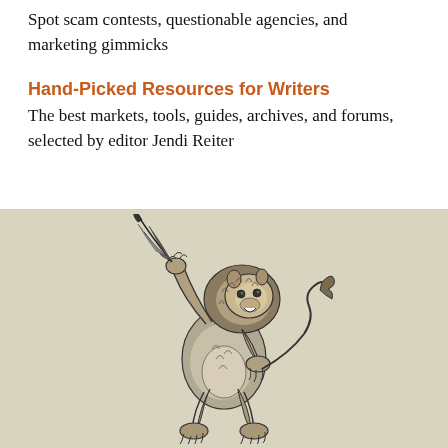Spot scam contests, questionable agencies, and marketing gimmicks
Hand-Picked Resources for Writers
The best markets, tools, guides, archives, and forums, selected by editor Jendi Reiter
[Figure (illustration): Heraldic rampant lion holding a quill feather pen, drawn in black and white engraving style]